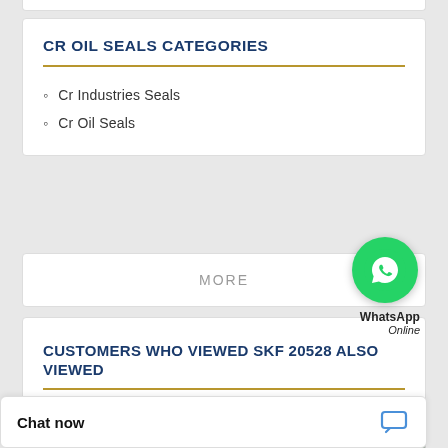CR OIL SEALS CATEGORIES
Cr Industries Seals
Cr Oil Seals
MORE
[Figure (illustration): WhatsApp green circular icon with phone handset]
WhatsApp Online
CUSTOMERS WHO VIEWED SKF 20528 ALSO VIEWED
[Figure (photo): Teal/green rubber oil seal rings, partial view]
[Figure (photo): Teal/green and black rubber oil seal rings]
Chat now